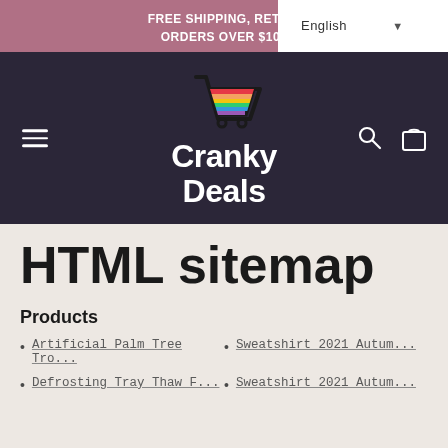FREE SHIPPING, RETU... ORDERS OVER $100
[Figure (logo): Cranky Deals logo with colorful shopping cart icon above stylized white text 'Cranky Deals' on dark purple background]
HTML sitemap
Products
Artificial Palm Tree Tro...
Sweatshirt 2021 Autum...
Defrosting Tray Thaw F...
Sweatshirt 2021 Autum...